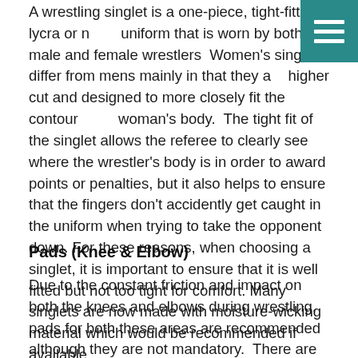A wrestling singlet is a one-piece, tight-fitting lycra or nylon uniform that is worn by both male and female wrestlers. Women's singlets differ from mens mainly in that they are higher cut and designed to more closely fit the contours of a woman's body.  The tight fit of the singlet allows the referee to clearly see where the wrestler's body is in order to award points or penalties, but it also helps to ensure that the fingers don't accidently get caught in the uniform when trying to take the opponent down. For these reasons, when choosing a singlet, it is important to ensure that it is well fitted but not too tight for comfort. Many singlets are now made with moisture-wicking material which would be recommended if available.
Pads (Knee & Elbow)
Due to the constant friction and impact on both the knees and elbows during wrestling, pads for both these areas are recommended although they are not mandatory.  There are several varieties of pads although traditionally they tend to be thinner than the protective pads used in many other sports and are fitted like a sleeve that covers the joint as well as a large portion of the skin both above and below the joint. Choose pads that fit well to the circumference of your limb and do not slide down easliy. In addition, ensure the padding